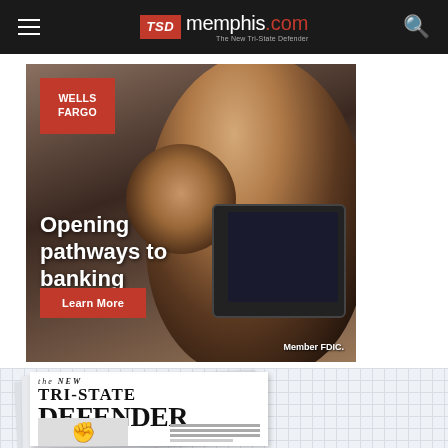TSD memphis.com — The New Tri-State Defender
[Figure (photo): Wells Fargo advertisement showing a mother and child looking at a tablet, with text 'Opening pathways to banking', Wells Fargo logo, Learn More button, and Member FDIC disclaimer]
[Figure (illustration): The New Tri-State Defender newspaper masthead preview showing newspaper pages fanned out with 'the NEW TRI-STATE DEFENDER' text and a fist graphic]